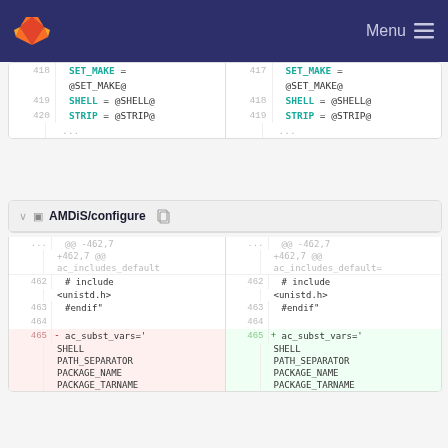GitLab navigation header with logo and Menu
[Figure (screenshot): Diff view top section showing lines 418-420 with SET_MAKE, SHELL, STRIP assignments]
AMDiS/configure
[Figure (screenshot): Diff view for AMDiS/configure showing lines 462-465 with ac_includes_default, #include <unistd.h>, #endif, ac_subst_vars changes]